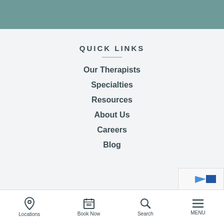[Figure (other): Teal/slate colored header banner image strip]
QUICK LINKS
Our Therapists
Specialties
Resources
About Us
Careers
Blog
Locations  Book Now  Search  MENU